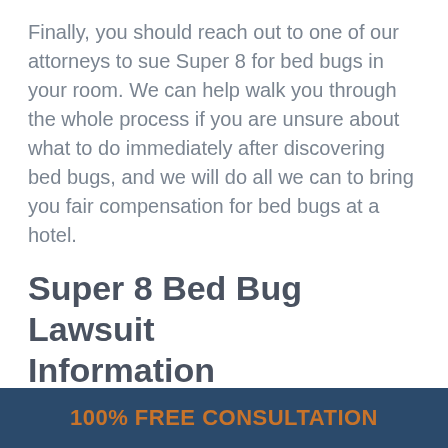Finally, you should reach out to one of our attorneys to sue Super 8 for bed bugs in your room. We can help walk you through the whole process if you are unsure about what to do immediately after discovering bed bugs, and we will do all we can to bring you fair compensation for bed bugs at a hotel.
Super 8 Bed Bug Lawsuit Information
If you intend to file a bed bug lawsuit against Super 8, you should be aware of the laws and conditions required to take action. Importantly, Super 8, like any hotel, must provide safe, healthy, sanitary rooms to its customers, and if it breaches that duty, it can be considered negligent. If that breach of duty results in an incident that caused you, the invitee, physical
100% FREE CONSULTATION